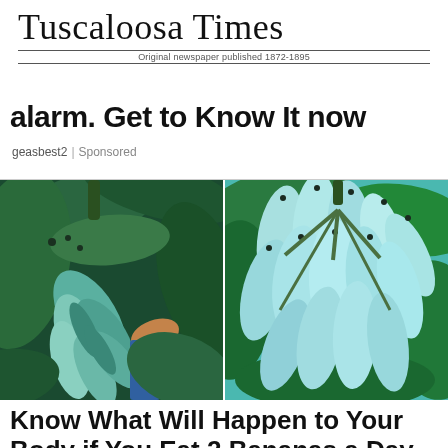Tuscaloosa Times
Original newspaper published 1872-1895
alarm. Get to Know It now
geasbest2 | Sponsored
[Figure (photo): Two side-by-side photos of blue Java bananas on a plant. Left photo shows a bunch of blue-green bananas hanging from a tree with large green leaves; a person's hand is visible. Right photo shows a close-up bunch of light blue bananas against green foliage.]
Know What Will Happen to Your Body if You Eat 2 Bananas a Day